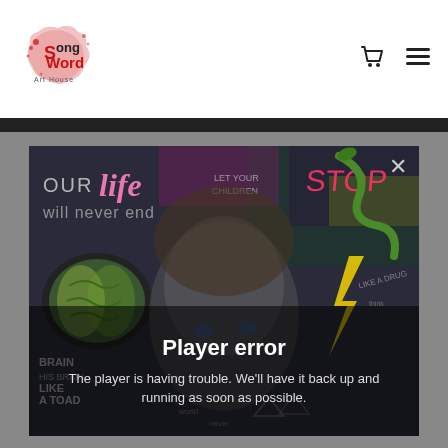[Figure (logo): SongWord Art House logo — red splatter ink with 'Song Word Art House' text]
[Figure (illustration): Colorful street-art style illustration of a child's face surrounded by graffiti text including 'OUR life will never end', 'STOP', brain imagery, snake, lightning bolt, 'LIKE A TOAD', 'LET YOUR CHILDREN']
Player error
The player is having trouble. We'll have it back up and running as soon as possible.